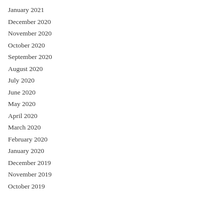January 2021
December 2020
November 2020
October 2020
September 2020
August 2020
July 2020
June 2020
May 2020
April 2020
March 2020
February 2020
January 2020
December 2019
November 2019
October 2019